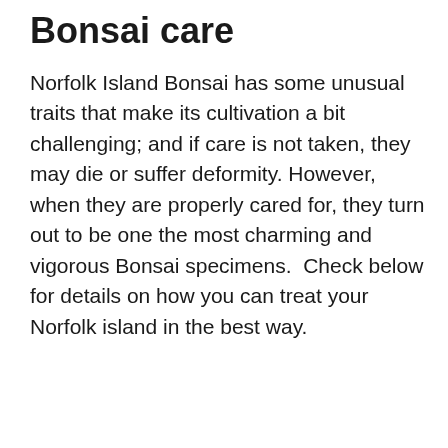Bonsai care
Norfolk Island Bonsai has some unusual traits that make its cultivation a bit challenging; and if care is not taken, they may die or suffer deformity. However, when they are properly cared for, they turn out to be one the most charming and vigorous Bonsai specimens.  Check below for details on how you can treat your Norfolk island in the best way.